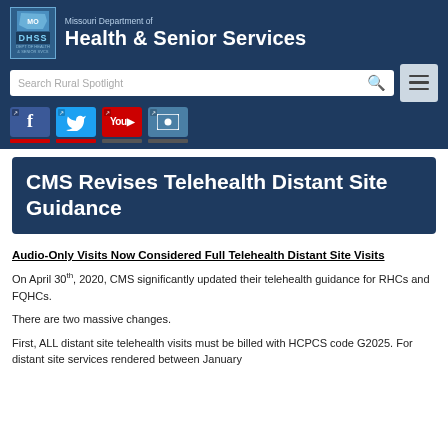Missouri Department of Health & Senior Services
[Figure (screenshot): Website header with DHSS logo, search bar, hamburger menu, and social media icons (Facebook, Twitter, YouTube, email)]
CMS Revises Telehealth Distant Site Guidance
Audio-Only Visits Now Considered Full Telehealth Distant Site Visits
On April 30th, 2020, CMS significantly updated their telehealth guidance for RHCs and FQHCs.
There are two massive changes.
First, ALL distant site telehealth visits must be billed with HCPCS code G2025. For distant site services rendered between January